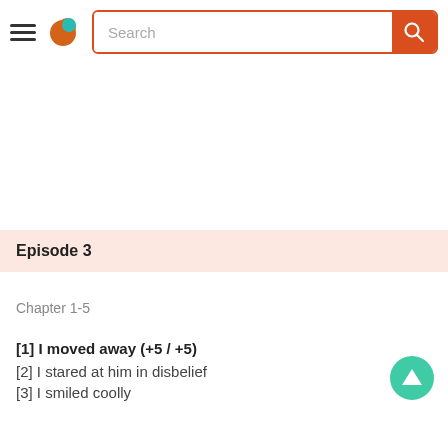Search
Episode 3
Chapter 1-5
[1] I moved away (+5 / +5)
[2] I stared at him in disbelief
[3] I smiled coolly